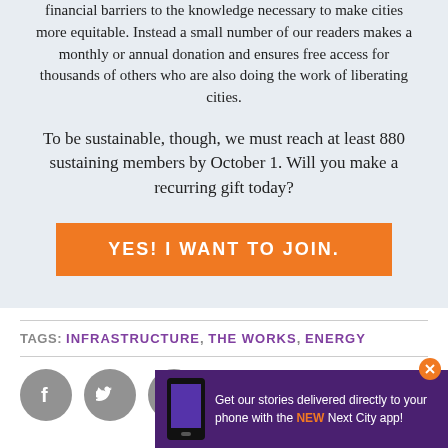financial barriers to the knowledge necessary to make cities more equitable. Instead a small number of our readers makes a monthly or annual donation and ensures free access for thousands of others who are also doing the work of liberating cities.
To be sustainable, though, we must reach at least 880 sustaining members by October 1. Will you make a recurring gift today?
YES! I WANT TO JOIN.
TAGS: INFRASTRUCTURE, THE WORKS, ENERGY
COMMENTS
Get our stories delivered directly to your phone with the NEW Next City app!